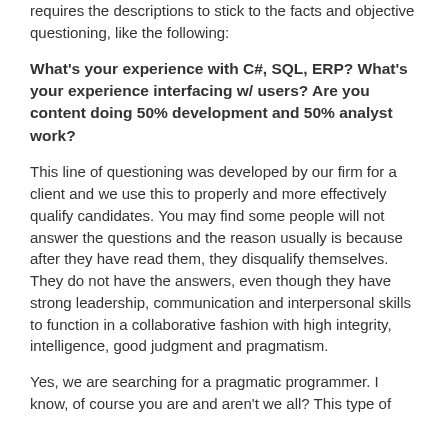requires the descriptions to stick to the facts and objective questioning, like the following:
What's your experience with C#, SQL, ERP? What's your experience interfacing w/ users? Are you content doing 50% development and 50% analyst work?
This line of questioning was developed by our firm for a client and we use this to properly and more effectively qualify candidates. You may find some people will not answer the questions and the reason usually is because after they have read them, they disqualify themselves. They do not have the answers, even though they have strong leadership, communication and interpersonal skills to function in a collaborative fashion with high integrity, intelligence, good judgment and pragmatism.
Yes, we are searching for a pragmatic programmer. I know, of course you are and aren't we all? This type of qualifying is really engagement with Putting it b...